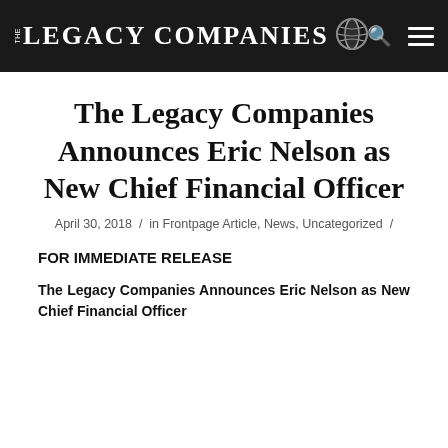THE LEGACY COMPANIES
The Legacy Companies Announces Eric Nelson as New Chief Financial Officer
April 30, 2018 / in Frontpage Article, News, Uncategorized /
FOR IMMEDIATE RELEASE
The Legacy Companies Announces Eric Nelson as New Chief Financial Officer